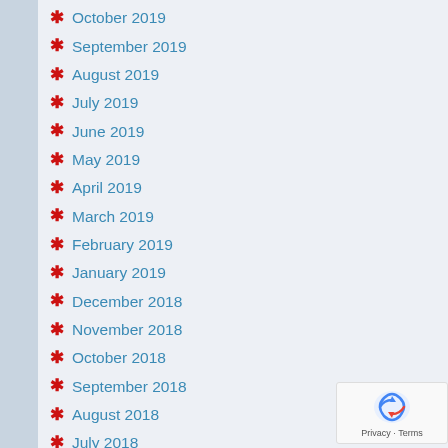October 2019
September 2019
August 2019
July 2019
June 2019
May 2019
April 2019
March 2019
February 2019
January 2019
December 2018
November 2018
October 2018
September 2018
August 2018
July 2018
June 2018
May 2018
April 2018
March 2018
February 2018
January 2018
December 2017
November 2017
October 2017
September 2017
August 2017
July 2017